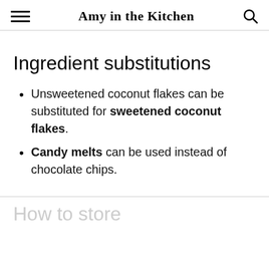Amy in the kitchen
Ingredient substitutions
Unsweetened coconut flakes can be substituted for sweetened coconut flakes.
Candy melts can be used instead of chocolate chips.
How to store